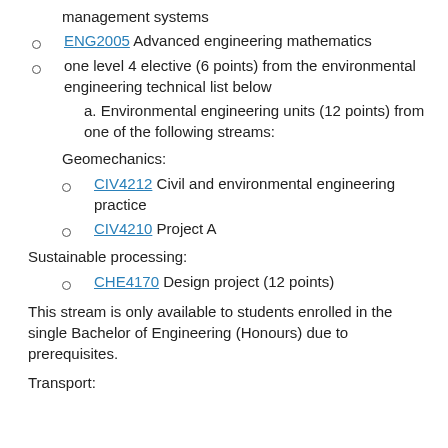management systems
ENG2005 Advanced engineering mathematics
one level 4 elective (6 points) from the environmental engineering technical list below
a. Environmental engineering units (12 points) from one of the following streams:
Geomechanics:
CIV4212 Civil and environmental engineering practice
CIV4210 Project A
Sustainable processing:
CHE4170 Design project (12 points)
This stream is only available to students enrolled in the single Bachelor of Engineering (Honours) due to prerequisites.
Transport: